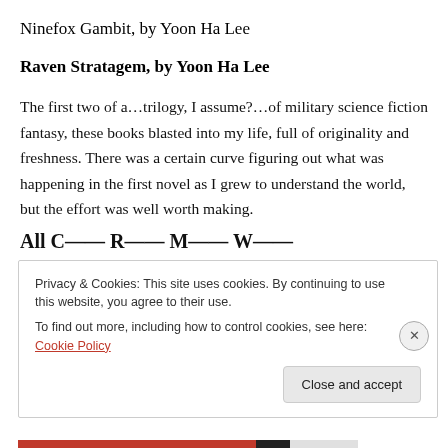Ninefox Gambit, by Yoon Ha Lee
Raven Stratagem, by Yoon Ha Lee
The first two of a…trilogy, I assume?…of military science fiction fantasy, these books blasted into my life, full of originality and freshness. There was a certain curve figuring out what was happening in the first novel as I grew to understand the world, but the effort was well worth making.
Privacy & Cookies: This site uses cookies. By continuing to use this website, you agree to their use.
To find out more, including how to control cookies, see here: Cookie Policy